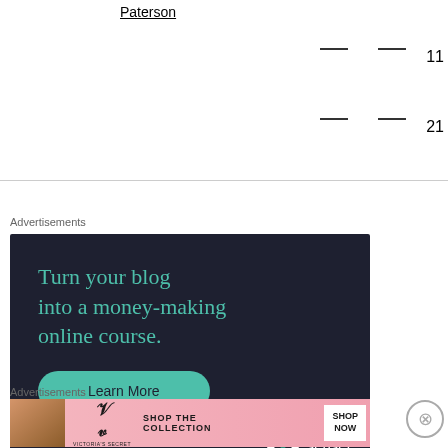Paterson
— — 11
— — 21
Advertisements
[Figure (screenshot): Sensei advertisement: dark background with teal text reading 'Turn your blog into a money-making online course.' with a teal Learn More button and Sensei logo at bottom right]
Advertisements
[Figure (screenshot): Victoria's Secret advertisement banner with pink gradient background, woman's photo, VS logo, text 'SHOP THE COLLECTION' and 'SHOP NOW' button]